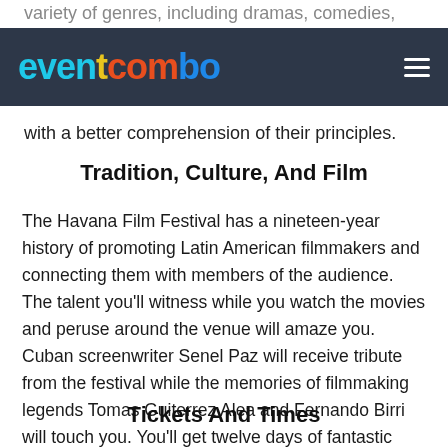variety of genres, including dramas, comedies,
EVENTCOMBO [logo] [hamburger menu]
with a better comprehension of their principles.
Tradition, Culture, And Film
The Havana Film Festival has a nineteen-year history of promoting Latin American filmmakers and connecting them with members of the audience. The talent you'll witness while you watch the movies and peruse around the venue will amaze you. Cuban screenwriter Senel Paz will receive tribute from the festival while the memories of filmmaking legends Tomas Guiterrez Alea and Fernando Birri will touch you. You'll get twelve days of fantastic movies to fulfill your entertainment needs.
Tickets And Times